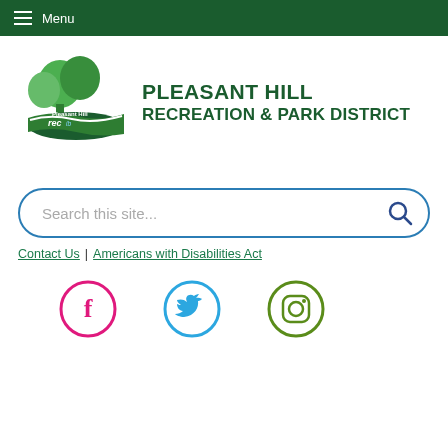Menu
[Figure (logo): Pleasant Hill Recreation & Park District logo with green trees and rec text]
PLEASANT HILL RECREATION & PARK DISTRICT
[Figure (screenshot): Search bar with placeholder text 'Search this site...' and search icon]
Contact Us | Americans with Disabilities Act
[Figure (infographic): Social media icons: Facebook (pink circle), Twitter (blue circle), Instagram (green circle)]